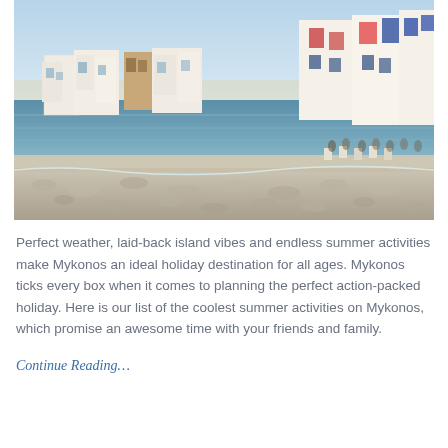[Figure (photo): Coastal view of Mykonos, Greece, showing white-washed buildings with colorful accents lining the waterfront. Rocky shoreline in the foreground with calm blue sea. Outdoor dining area visible on the right side. Golden hour lighting.]
Perfect weather, laid-back island vibes and endless summer activities make Mykonos an ideal holiday destination for all ages. Mykonos ticks every box when it comes to planning the perfect action-packed holiday. Here is our list of the coolest summer activities on Mykonos, which promise an awesome time with your friends and family.
Continue Reading…